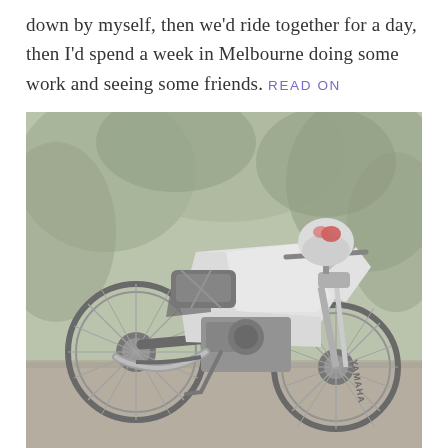down by myself, then we'd ride together for a day, then I'd spend a week in Melbourne doing some work and seeing some friends. READ ON
[Figure (photo): A white Yamaha dual-sport/dirt bike parked on gravel in front of green foliage. A helmet (white) is placed on top of the handlebars. A bag is strapped to the rear seat. The front fork reads 'YAMAHA'.]